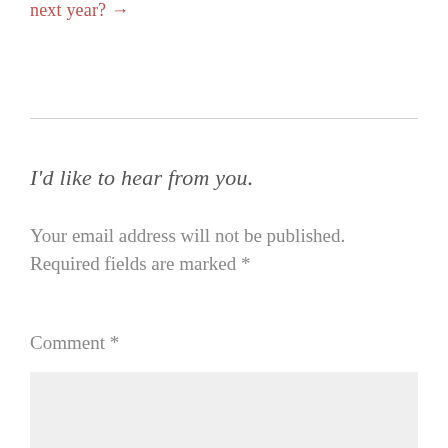next year? →
I'd like to hear from you.
Your email address will not be published. Required fields are marked *
Comment *